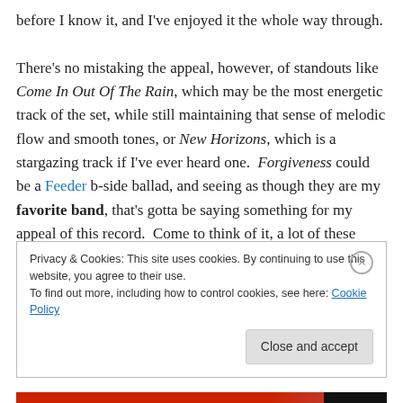before I know it, and I've enjoyed it the whole way through.

There's no mistaking the appeal, however, of standouts like Come In Out Of The Rain, which may be the most energetic track of the set, while still maintaining that sense of melodic flow and smooth tones, or New Horizons, which is a stargazing track if I've ever heard one.  Forgiveness could be a Feeder b-side ballad, and seeing as though they are my favorite band, that's gotta be saying something for my appeal of this record.  Come to think of it, a lot of these tracks could be toned-down Feeder b-
Privacy & Cookies: This site uses cookies. By continuing to use this website, you agree to their use.
To find out more, including how to control cookies, see here: Cookie Policy